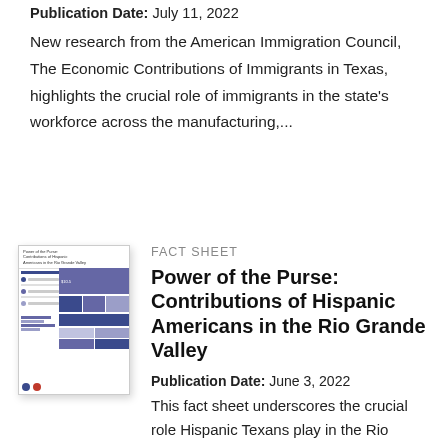Publication Date: July 11, 2022
New research from the American Immigration Council, The Economic Contributions of Immigrants in Texas, highlights the crucial role of immigrants in the state's workforce across the manufacturing,...
FACT SHEET
[Figure (illustration): Thumbnail image of a fact sheet document titled 'Power of the Purse: Contributions of Hispanic Americans in the Rio Grande Valley' with blue and purple infographic elements, tables, bar charts, and icons]
Power of the Purse: Contributions of Hispanic Americans in the Rio Grande Valley
Publication Date: June 3, 2022
This fact sheet underscores the crucial role Hispanic Texans play in the Rio Grande...